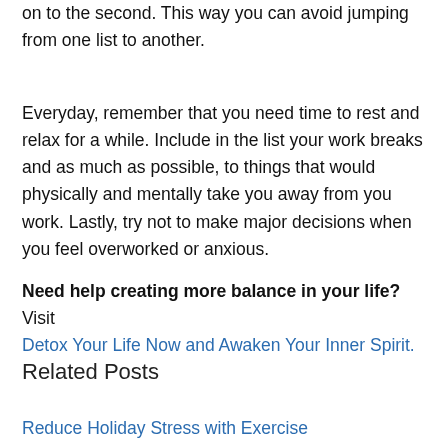on to the second. This way you can avoid jumping from one list to another.
Everyday, remember that you need time to rest and relax for a while. Include in the list your work breaks and as much as possible, to things that would physically and mentally take you away from you work. Lastly, try not to make major decisions when you feel overworked or anxious.
Need help creating more balance in your life? Visit Detox Your Life Now and Awaken Your Inner Spirit.
Related Posts
Reduce Holiday Stress with Exercise